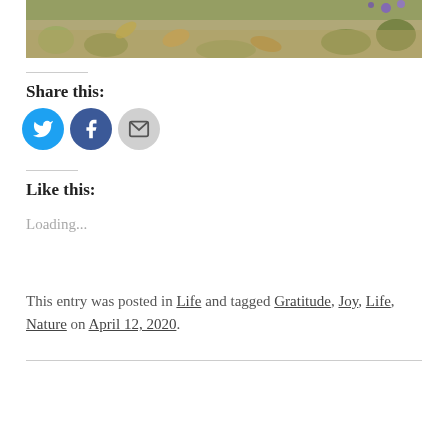[Figure (photo): Partial view of a nature photo showing leaves and small purple flowers on the ground]
Share this:
[Figure (infographic): Three social sharing buttons: Twitter (blue circle), Facebook (blue circle), Email (grey circle)]
Like this:
Loading...
This entry was posted in Life and tagged Gratitude, Joy, Life, Nature on April 12, 2020.